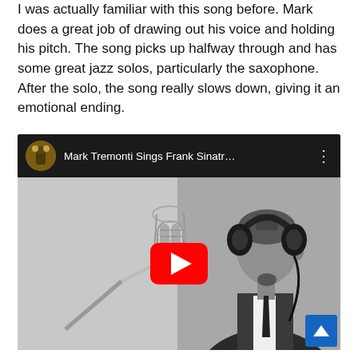I was actually familiar with this song before. Mark does a great job of drawing out his voice and holding his pitch. The song picks up halfway through and has some great jazz solos, particularly the saxophone.  After the solo, the song really slows down, giving it an emotional ending.
[Figure (screenshot): YouTube video embed showing Mark Tremonti Sings Frank Sinatr... with a black-and-white thumbnail of a man wearing headphones singing into a studio microphone, with a red YouTube play button overlay and a scroll-up button in the bottom right corner.]